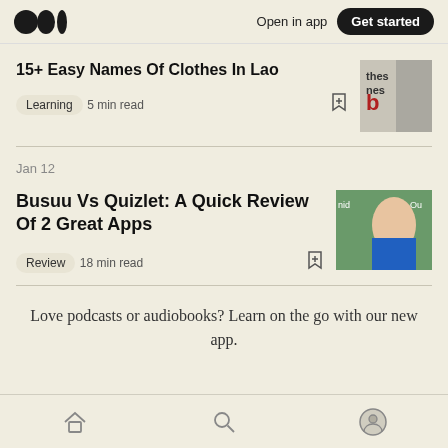Open in app | Get started
15+ Easy Names Of Clothes In Lao
Learning   5 min read
Jan 12
Busuu Vs Quizlet: A Quick Review Of 2 Great Apps
Review   18 min read
Love podcasts or audiobooks? Learn on the go with our new app.
Home | Search | Profile